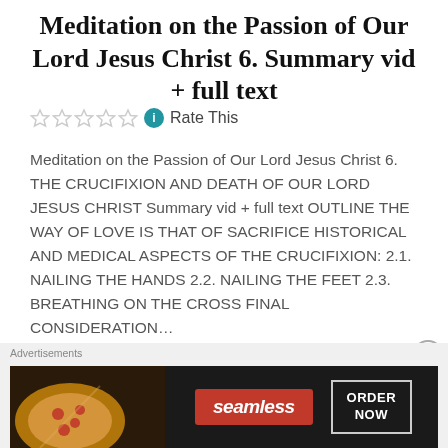Meditation on the Passion of Our Lord Jesus Christ 6. Summary vid + full text
Rate This
Meditation on the Passion of Our Lord Jesus Christ 6. THE CRUCIFIXION AND DEATH OF OUR LORD JESUS CHRIST Summary vid + full text OUTLINE THE WAY OF LOVE IS THAT OF SACRIFICE HISTORICAL AND MEDICAL ASPECTS OF THE CRUCIFIXION: 2.1. NAILING THE HANDS 2.2. NAILING THE FEET 2.3. BREATHING ON THE CROSS FINAL CONSIDERATION...
READ MORE
Advertisements
[Figure (other): Seamless food delivery advertisement banner showing pizza with Seamless logo and ORDER NOW button]